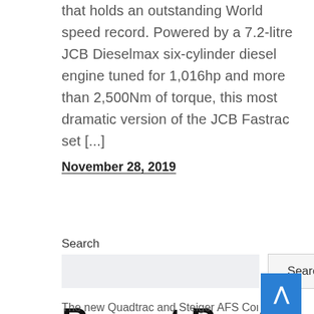that holds an outstanding World speed record. Powered by a 7.2-litre JCB Dieselmax six-cylinder diesel engine tuned for 1,016hp and more than 2,500Nm of torque, this most dramatic version of the JCB Fastrac set [...]
November 28, 2019
Search
Recent Posts
The new Quadtrac and Steiger AFS Connect™